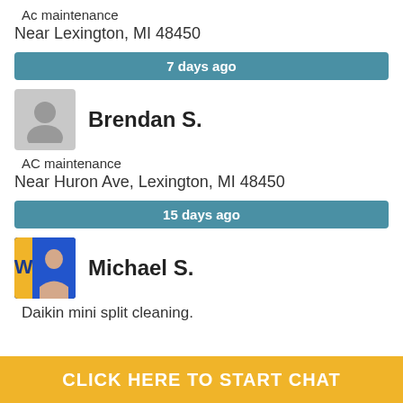Ac maintenance
Near Lexington, MI 48450
7 days ago
Brendan S.
AC maintenance
Near Huron Ave, Lexington, MI 48450
15 days ago
Michael S.
Daikin mini split cleaning.
CLICK HERE TO START CHAT